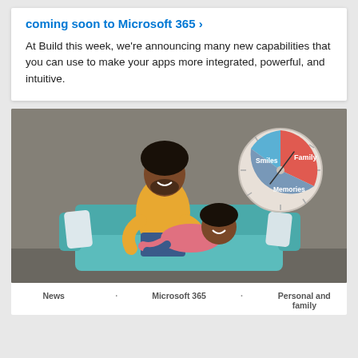coming soon to Microsoft 365 ›
At Build this week, we're announcing many new capabilities that you can use to make your apps more integrated, powerful, and intuitive.
[Figure (photo): A father and child playing on a teal couch against a gray background, with a decorative pie-chart style clock on the wall showing segments labeled Family, Smiles, and Memories]
News · Microsoft 365 · Personal and family